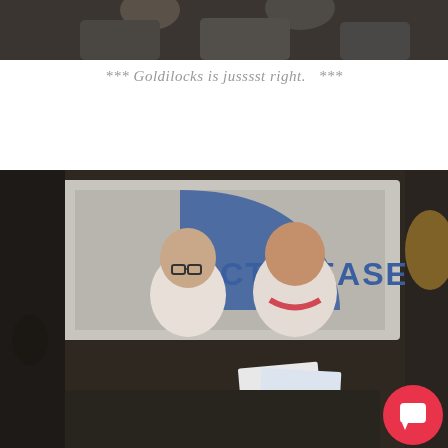[Figure (photo): Top portion of a photo showing people, partially cropped, dark background]
*** Goldilocks is jusssst right.   ***
[Figure (photo): Two people standing together in front of a projected 'ARCTIC EASE' banner/sign. A man in white Ironman t-shirt with glasses and a woman in white top with red lei necklace holding papers, smiling. A chat support bubble icon is visible in the bottom right corner.]